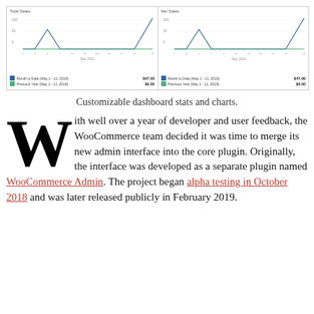[Figure (screenshot): Screenshot of WooCommerce dashboard showing two line charts side by side: 'Total Sales' and 'Net Sales', each with two legend entries showing Month to Date values of $47.00 and $0.00, and Previous Year values.]
Customizable dashboard stats and charts.
With well over a year of developer and user feedback, the WooCommerce team decided it was time to merge its new admin interface into the core plugin. Originally, the interface was developed as a separate plugin named WooCommerce Admin. The project began alpha testing in October 2018 and was later released publicly in February 2019.